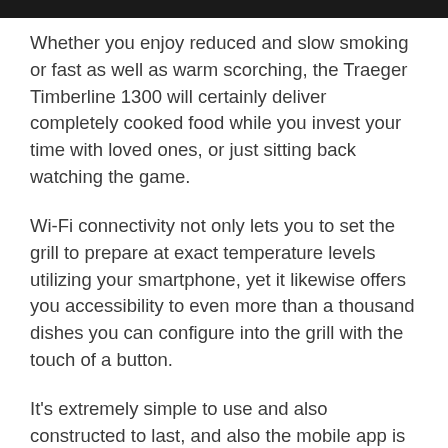Whether you enjoy reduced and slow smoking or fast as well as warm scorching, the Traeger Timberline 1300 will certainly deliver completely cooked food while you invest your time with loved ones, or just sitting back watching the game.
Wi-Fi connectivity not only lets you to set the grill to prepare at exact temperature levels utilizing your smartphone, yet it likewise offers you accessibility to even more than a thousand dishes you can configure into the grill with the touch of a button.
It's extremely simple to use and also constructed to last, and also the mobile app is easy and